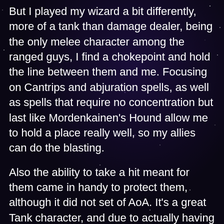But I played my wizard a bit differently, more of a tank than damage dealer, being the only melee character among the ranged guys, I find a chokepoint and hold the line between them and me. Focusing on Cantrips and abjuration spells, as well as spells that require no concentration but last like Mordenkainen's Hound allow me to hold a place really well, so my allies can do the blasting.
Also the ability to take a hit meant for them came in handy to protect them, although it did not set of AoA. It's a great Tank character, and due to actually having spells when not throwing AoA around, a very versatile one as well. I was so happy, always a fan of Abjuration magic, this was the first edition that made it feel viable.